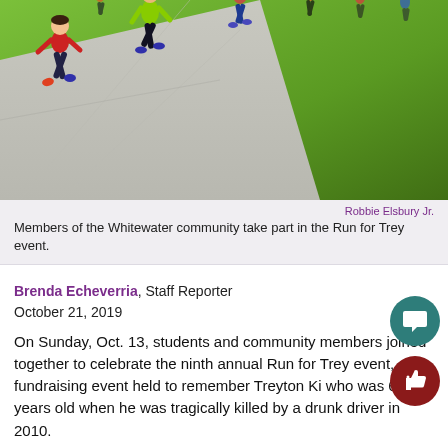[Figure (photo): Children running on a sidewalk path with green grass in the background during the Run for Trey event.]
Robbie Elsbury Jr.
Members of the Whitewater community take part in the Run for Trey event.
Brenda Echeverria, Staff Reporter
October 21, 2019
On Sunday, Oct. 13, students and community members joined together to celebrate the ninth annual Run for Trey event, a fundraising event held to remember Treyton Ki... who was 6 years old when he was tragically killed by a drunk driver in 2010.
Treyton loved baseball and he dreamed of one day...